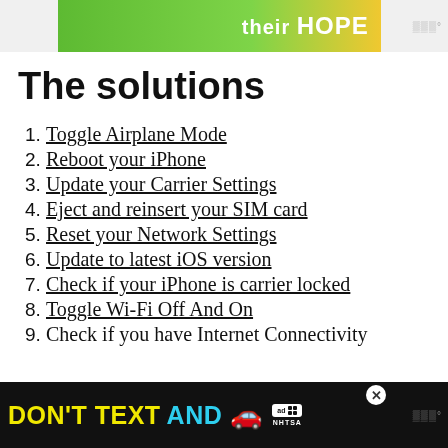[Figure (other): Top banner advertisement with green background showing 'their HOPE' text and Cookies for Kids' Cancer logo]
The solutions
Toggle Airplane Mode
Reboot your iPhone
Update your Carrier Settings
Eject and reinsert your SIM card
Reset your Network Settings
Update to latest iOS version
Check if your iPhone is carrier locked
Toggle Wi-Fi Off And On
Check if you have Internet Connectivity
[Figure (other): Bottom banner advertisement: DON'T TEXT AND [car emoji] with ad badge and NHTSA logo]